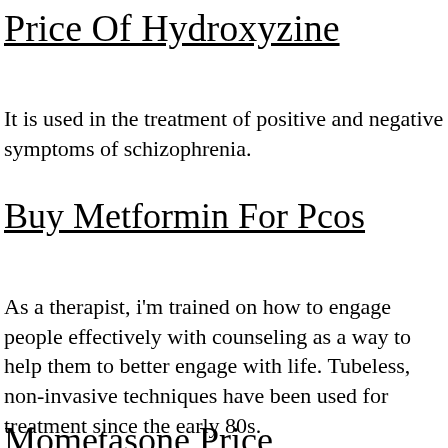Price Of Hydroxyzine
It is used in the treatment of positive and negative symptoms of schizophrenia.
Buy Metformin For Pcos
As a therapist, i’m trained on how to engage people effectively with counseling as a way to help them to better engage with life. Tubeless, non-invasive techniques have been used for treatment since the early 80s.
Mometasone Price